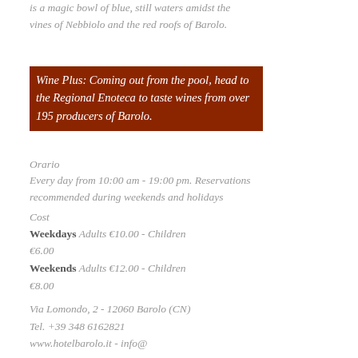is a magic bowl of blue, still waters amidst the vines of Nebbiolo and the red roofs of Barolo.
Wine Plus: Coming out from the pool, head to the Regional Enoteca to taste wines from over 195 producers of Barolo.
Orario
Every day from 10:00 am - 19:00 pm. Reservations recommended during weekends and holidays
Cost
Weekdays Adults  €10.00 - Children  €6.00
Weekends Adults €12.00 - Children €8.00
Via Lomondo, 2 - 12060 Barolo (CN)
Tel. +39 348 6162821
www.hotelbarolo.it - info@